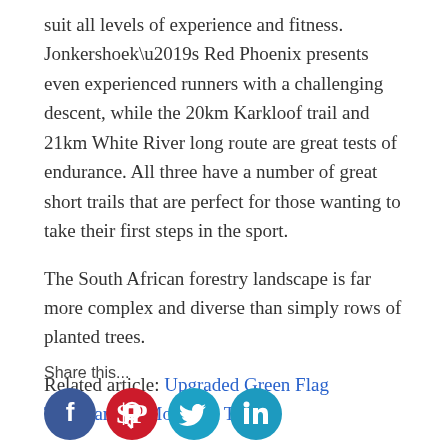suit all levels of experience and fitness. Jonkershoek’s Red Phoenix presents even experienced runners with a challenging descent, while the 20km Karkloof trail and 21km White River long route are great tests of endurance. All three have a number of great short trails that are perfect for those wanting to take their first steps in the sport.
The South African forestry landscape is far more complex and diverse than simply rows of planted trees.
Related article: Upgraded Green Flag Tsitsikamma Mountain Trail
Share this...
[Figure (infographic): Four social media share icons in circles: Facebook (dark blue), Pinterest (red), Twitter (teal), LinkedIn (teal)]